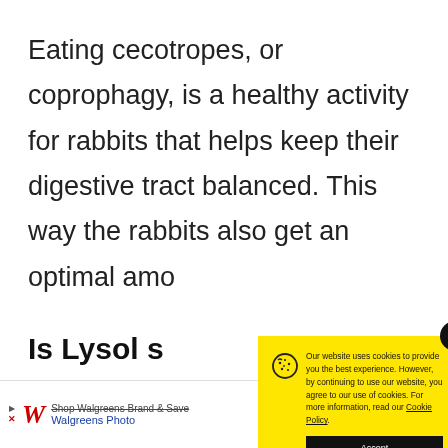Eating cecotropes, or coprophagy, is a healthy activity for rabbits that helps keep their digestive tract balanced. This way the rabbits also get an optimal amo...
However, wh... disrupted, th... culprit is poc...
Is Lysol s...
[Figure (screenshot): Cookie consent popup with yellow background. Text: 'Our website uses cookies to provide you the best experience. However, by continuing to use our website, you agree to our use of cookies. For more information, read our Cookie Policy.' Accept button in black. Close button (x) in top right.]
[Figure (infographic): Walgreens advertisement banner at the bottom of the page with Walgreens logo in red cursive, text 'Shop Walgreens Brand & Save', 'Walgreens Photo', and blue Walgreens diamond logo.]